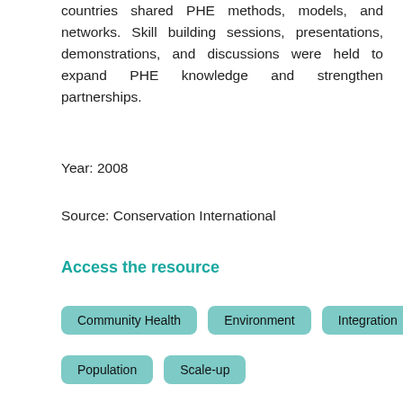countries shared PHE methods, models, and networks. Skill building sessions, presentations, demonstrations, and discussions were held to expand PHE knowledge and strengthen partnerships.
Year: 2008
Source: Conservation International
Access the resource
Community Health
Environment
Integration
Population
Scale-up